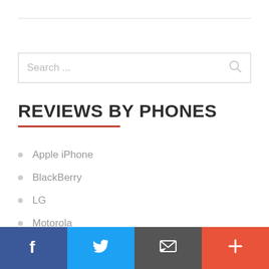[Figure (other): Horizontal rule divider line at top of page]
[Figure (other): Search input box with placeholder text 'Search ...' and a search icon on the right]
REVIEWS BY PHONES
Apple iPhone
BlackBerry
LG
Motorola
Nokia
Facebook | Twitter | Email | More (+)